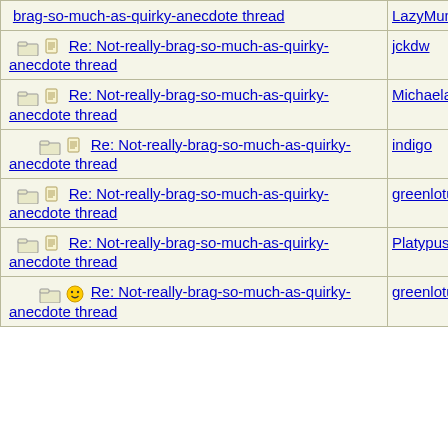| Subject | Author |
| --- | --- |
| brag-so-much-as-quirky-anecdote thread | LazyMum |
| Re: Not-really-brag-so-much-as-quirky-anecdote thread | jckdw |
| Re: Not-really-brag-so-much-as-quirky-anecdote thread | Michaela |
| Re: Not-really-brag-so-much-as-quirky-anecdote thread | indigo |
| Re: Not-really-brag-so-much-as-quirky-anecdote thread | greenlotu |
| Re: Not-really-brag-so-much-as-quirky-anecdote thread | Platypus1 |
| Re: Not-really-brag-so-much-as-quirky-anecdote thread | greenlotu |